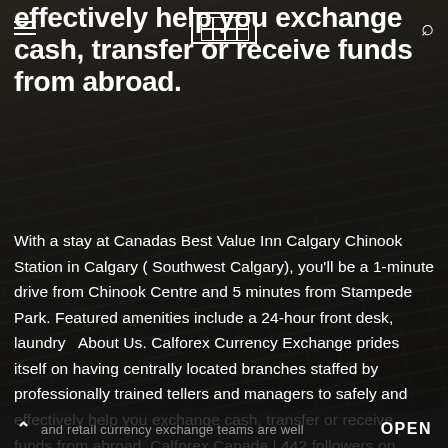effectively help you exchange cash, transfer or receive funds from abroad.
With a stay at Canadas Best Value Inn Calgary Chinook Station in Calgary ( Southwest Calgary), you'll be a 1-minute drive from Chinook Centre and 5 minutes from Stampede Park. Featured amenities include a 24-hour front desk, laundry  About Us. Calforex Currency Exchange prides itself on having centrally located branches staffed by professionally trained tellers and managers to safely and effectively help you exchange cash, transfer or receive funds from abroad. Calforex Canada | 442 followers on LinkedIn | Calforex operates 13 retail and corporate locations in British Columbia, Alberta, Manitoba, Ontario and Quebec. Our corporate
and retail currency exchange teams are well experienced...